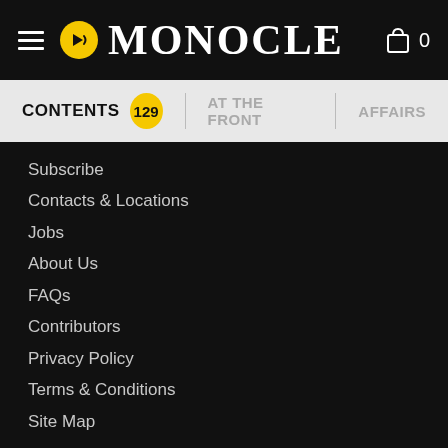MONOCLE
CONTENTS 129 | AT THE FRONT | AFFAIRS
Subscribe
Contacts & Locations
Jobs
About Us
FAQs
Contributors
Privacy Policy
Terms & Conditions
Site Map
Monocle email newsletters
Your email address  Sign up